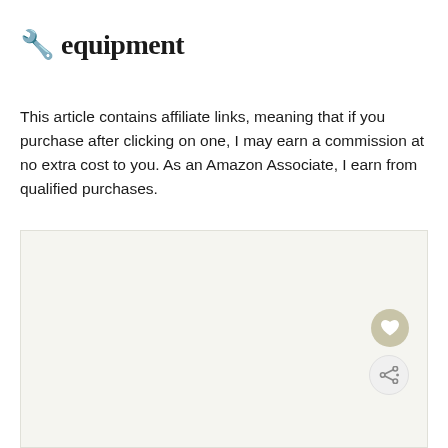🔧 equipment
This article contains affiliate links, meaning that if you purchase after clicking on one, I may earn a commission at no extra cost to you. As an Amazon Associate, I earn from qualified purchases.
[Figure (photo): Large image placeholder area with light gray background]